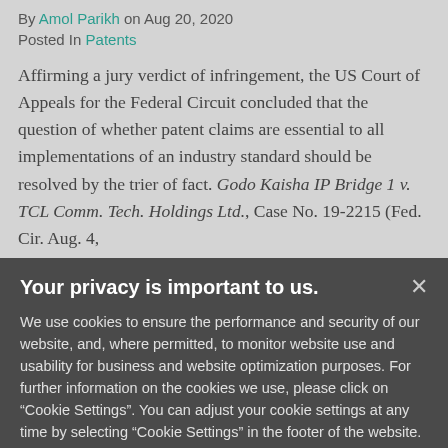By Amol Parikh on Aug 20, 2020
Posted In Patents
Affirming a jury verdict of infringement, the US Court of Appeals for the Federal Circuit concluded that the question of whether patent claims are essential to all implementations of an industry standard should be resolved by the trier of fact. Godo Kaisha IP Bridge 1 v. TCL Comm. Tech. Holdings Ltd., Case No. 19-2215 (Fed. Cir. Aug. 4,
Your privacy is important to us. We use cookies to ensure the performance and security of our website, and, where permitted, to monitor website use and usability for business and website optimization purposes. For further information on the cookies we use, please click on "Cookie Settings". You can adjust your cookie settings at any time by selecting "Cookie Settings" in the footer of the website.